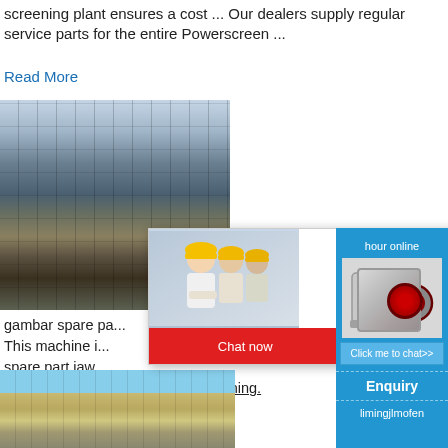screening plant ensures a cost ... Our dealers supply regular service parts for the entire Powerscreen ...
Read More
[Figure (photo): Industrial screening/crushing plant with scaffolding and industrial structures]
gambar spare pa... This machine i... spare part jaw ... Powerscreen - Crushing and Screening.
Read More
[Figure (screenshot): Live chat popup overlay with workers in yellow hard hats, LIVE CHAT title in red italic, 'Click for a Free Consultation' subtitle, Chat now and Chat later buttons]
[Figure (infographic): Blue sidebar panel showing: 'hour online', jaw crusher machine image, 'Click me to chat>>' button, 'Enquiry' text, 'limingjlmofen' text]
[Figure (photo): Industrial plant with blue sky background, silos and scaffolding structures]